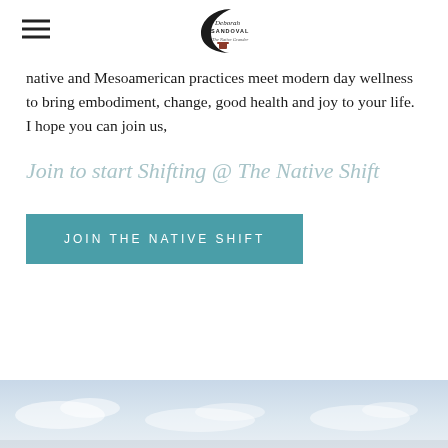Deborah Sandoval - The Native Grander (logo)
native and Mesoamerican practices meet modern day wellness to bring embodiment, change, good health and joy to your life. I hope you can join us,
Join to start Shifting @ The Native Shift
Join The Native Shift
[Figure (photo): Sky with clouds at the bottom of the page]